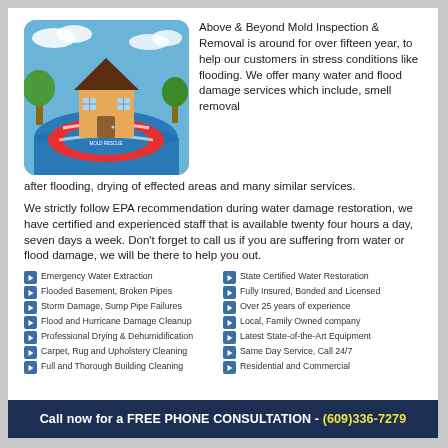[Figure (illustration): A cartoon house floating on flood water on a red life preserver ring, with trees in background and a blue sky. Text on the life ring reads 'ABOVE & BEYOND MOLD RESCUE'.]
Above & Beyond Mold Inspection & Removal is around for over fifteen year, to help our customers in stress conditions like flooding. We offer many water and flood damage services which include, smell removal after flooding, drying of effected areas and many similar services.
We strictly follow EPA recommendation during water damage restoration, we have certified and experienced staff that is available twenty four hours a day, seven days a week. Don't forget to call us if you are suffering from water or flood damage, we will be there to help you out.
Emergency Water Extraction
Flooded Basement, Broken Pipes
Storm Damage, Sump Pipe Failures
Flood and Hurricane Damage Cleanup
Professional Drying & Dehumidification
Carpet, Rug and Upholstery Cleaning
Full and Thorough Building Cleaning
State Certified Water Restoration
Fully Insured, Bonded and Licensed
Over 25 years of experience
Local, Family Owned company
Latest State-of-the-Art Equipment
Same Day Service, Call 24/7
Residential and Commercial
Call now for a FREE PHONE CONSULTATION - (609)336-7279